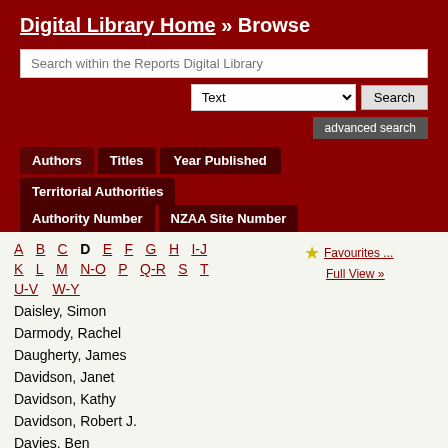Digital Library Home » Browse
Search within the Reports Digital Library
Text | Search | advanced search
Authors | Titles | Year Published | Territorial Authorities | Authority Number | NZAA Site Number
A B C D E F G H I-J K L M N-O P Q-R S T U-V W-Y
Favourites ...
Full View »
Daisley, Simon
Darmody, Rachel
Daugherty, James
Davidson, Janet
Davidson, Kathy
Davidson, Robert J.
Davies, Ben
Davies, Laura